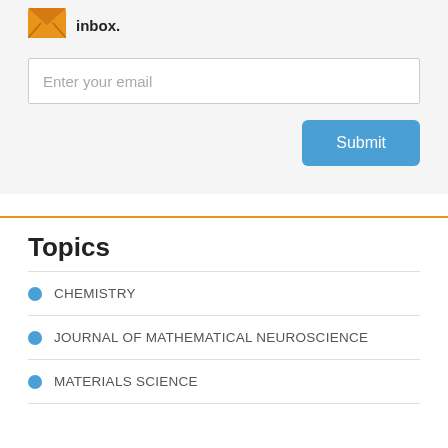[Figure (illustration): Orange envelope icon]
inbox.
Enter your email
Submit
Topics
CHEMISTRY
JOURNAL OF MATHEMATICAL NEUROSCIENCE
MATERIALS SCIENCE